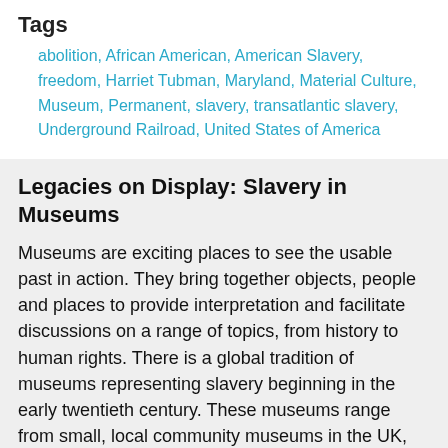Tags
abolition, African American, American Slavery, freedom, Harriet Tubman, Maryland, Material Culture, Museum, Permanent, slavery, transatlantic slavery, Underground Railroad, United States of America
Legacies on Display: Slavery in Museums
Museums are exciting places to see the usable past in action. They bring together objects, people and places to provide interpretation and facilitate discussions on a range of topics, from history to human rights. There is a global tradition of museums representing slavery beginning in the early twentieth century. These museums range from small, local community museums in the UK, that focus on individual abolitionist leaders, to redeveloped slave forts on the West African coast and large national institutions in North America. As well as providing